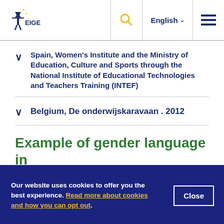EIGE | English
Spain, Women's Institute and the Ministry of Education, Culture and Sports through the National Institute of Educational Technologies and Teachers Training (INTEF)
Belgium, De onderwijskaravaan . 2012
Example of gender language in
Our website uses cookies to offer you the best experience. Read more about cookies and how you can opt out.